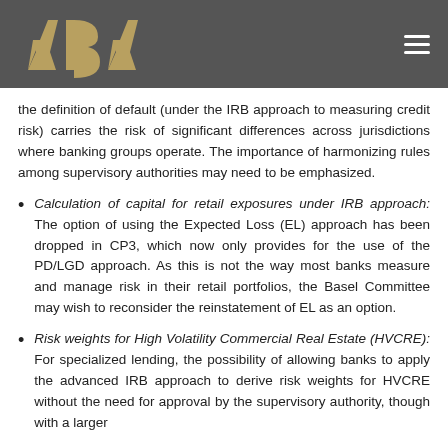ABA - Asian Bankers Association
the definition of default (under the IRB approach to measuring credit risk) carries the risk of significant differences across jurisdictions where banking groups operate. The importance of harmonizing rules among supervisory authorities may need to be emphasized.
Calculation of capital for retail exposures under IRB approach: The option of using the Expected Loss (EL) approach has been dropped in CP3, which now only provides for the use of the PD/LGD approach. As this is not the way most banks measure and manage risk in their retail portfolios, the Basel Committee may wish to reconsider the reinstatement of EL as an option.
Risk weights for High Volatility Commercial Real Estate (HVCRE): For specialized lending, the possibility of allowing banks to apply the advanced IRB approach to derive risk weights for HVCRE without the need for approval by the supervisory authority, though with a larger